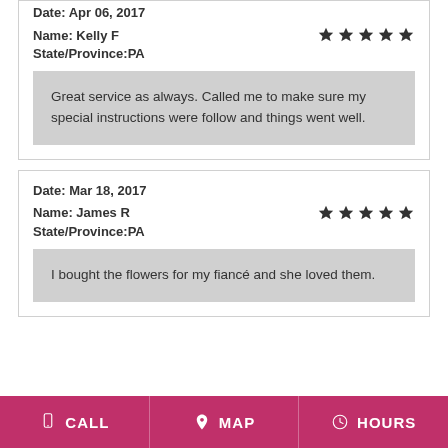Date: Apr 06, 2017
Name: Kelly F
State/Province: PA
Great service as always. Called me to make sure my special instructions were follow and things went well.
Date: Mar 18, 2017
Name: James R
State/Province: PA
I bought the flowers for my fiancé and she loved them.
CALL  MAP  HOURS